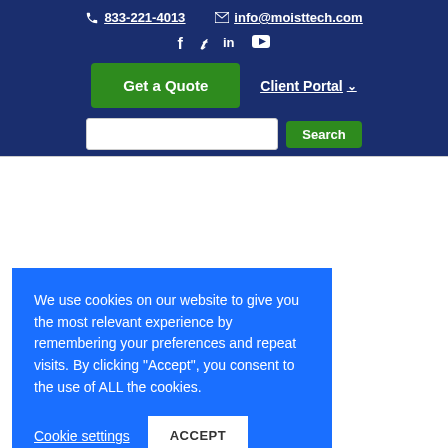833-221-4013  info@moisttech.com
[Figure (other): Social media icons: Facebook, Twitter, LinkedIn, YouTube]
Get a Quote  Client Portal
Search
We use cookies on our website to give you the most relevant experience by remembering your preferences and repeat visits. By clicking “Accept”, you consent to the use of ALL the cookies.
Cookie settings  ACCEPT